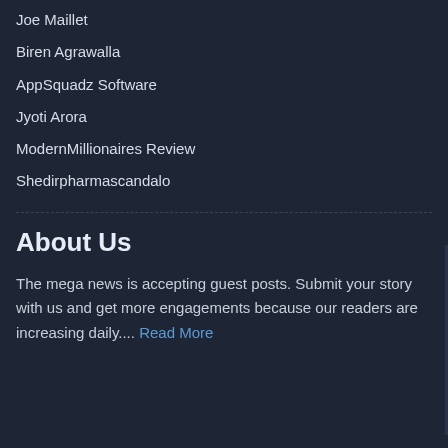Joe Maillet
Biren Agrawalla
AppSquadz Software
Jyoti Arora
ModernMillionaires Review
Shedirpharmascandalo
About Us
The mega news is accepting guest posts. Submit your story with us and get more engagements because our readers are increasing daily.... Read More